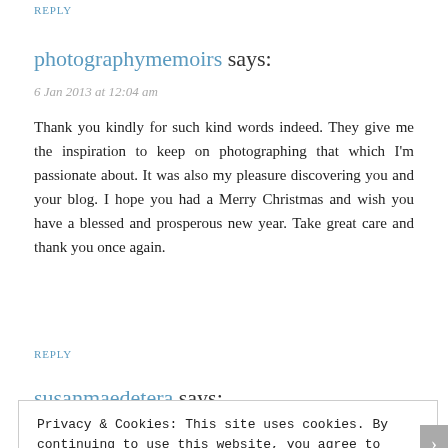REPLY
photographymemoirs says:
6 Jan 2013 at 12:04 am
Thank you kindly for such kind words indeed. They give me the inspiration to keep on photographing that which I'm passionate about. It was also my pleasure discovering you and your blog. I hope you had a Merry Christmas and wish you have a blessed and prosperous new year. Take great care and thank you once again.
REPLY
susanmaedetera says:
Privacy & Cookies: This site uses cookies. By continuing to use this website, you agree to their use.
To find out more, including how to control cookies, see here: Cookie Policy
Close and accept